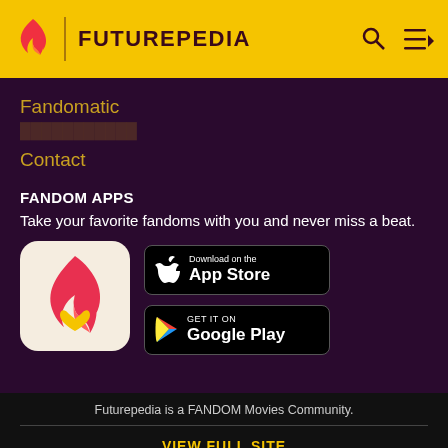FUTUREPEDIA
Fandomatic
Contact
FANDOM APPS
Take your favorite fandoms with you and never miss a beat.
[Figure (logo): Fandom app icon: pink/red flame with yellow heart on cream background]
[Figure (screenshot): Download on the App Store button (black, rounded rectangle)]
[Figure (screenshot): Get it on Google Play button (black, rounded rectangle)]
Futurepedia is a FANDOM Movies Community.
VIEW FULL SITE